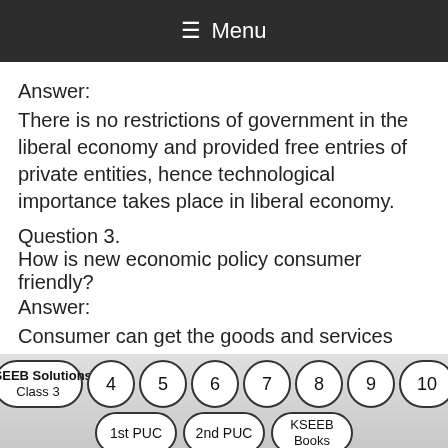≡ Menu
Answer:
There is no restrictions of government in the liberal economy and provided free entries of private entities, hence technological importance takes place in liberal economy.
Question 3.
How is new economic policy consumer friendly?
Answer:
Consumer can get the goods and services according to his wishes. He would fulfill his needs, desires and feel satisfaction with his choice of things. So the new economic policy is
KSEEB Solutions Class 3  4  5  6  7  8  9  10  1st PUC  2nd PUC  KSEEB Books